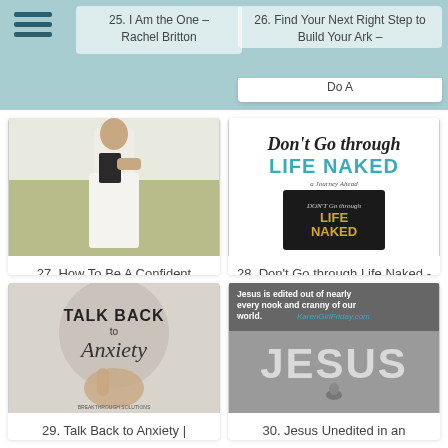Navigation header with menu items 25 and 26
25. I Am the One – Rachel Britton
26. Find Your Next Right Step to Build Your Ark – Do A
[Figure (photo): Woman in white dress holding a black book/bible in a field]
27. How To Be A Confident Christian Woman - Cord of 6
[Figure (photo): Book cover: Don't Go through Life Naked by Sandy Head]
28. Don't Go through Life Naked - Linkup
[Figure (photo): Talk Back to Anxiety book cover with pointing hand]
29. Talk Back to Anxiety |
[Figure (photo): Black and white image of JESUS stone letters with quote: Jesus is edited out of nearly every nook and cranny of our world. KarenGirlFriday.com]
30. Jesus Unedited in an